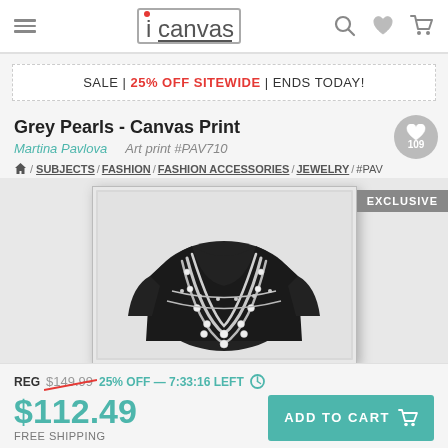[Figure (screenshot): iCanvas website header navigation bar with hamburger menu, iCanvas logo, search icon, heart icon, and cart icon]
SALE | 25% OFF SITEWIDE | ENDS TODAY!
Grey Pearls - Canvas Print
Martina Pavlova   Art print #PAV710
Home / SUBJECTS / FASHION / FASHION ACCESSORIES / JEWELRY / #PAV
[Figure (photo): Canvas print showing grey pearls artwork - a black top/shirt with pearl necklaces in black and white photography style, with EXCLUSIVE badge in top right corner]
REG $149.99 25% OFF — 7:33:16 LEFT
$112.49
FREE SHIPPING
ADD TO CART